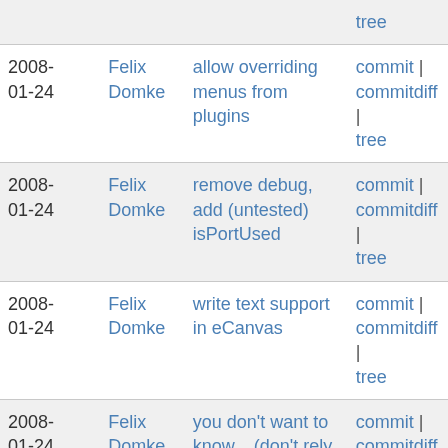| Date | Author | Message | Links |
| --- | --- | --- | --- |
|  |  |  | tree |
| 2008-01-24 | Felix Domke | allow overriding menus from plugins | commit | commitdiff | tree |
| 2008-01-24 | Felix Domke | remove debug, add (untested) isPortUsed | commit | commitdiff | tree |
| 2008-01-24 | Felix Domke | write text support in eCanvas | commit | commitdiff | tree |
| 2008-01-24 | Felix Domke | you don't want to know... (don't rely on clut in 32bit... | commit | commitdiff | tree |
| 2008-01-24 | Felix Domke | disable preferred_modes stuff for now, implement hotplug... | commit | commitdiff | tree |
| 2008- | Felix | pass more information | commit | |